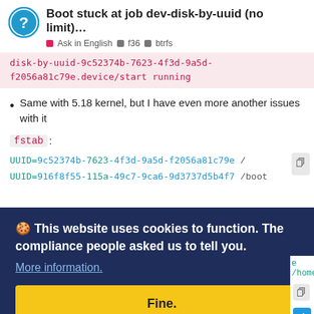Boot stuck at job dev-disk-by-uuid (no limit)...
Ask in English  f36  btrfs
disk-by-uuid-9c52374b-7623-4f3d-9a5d-f2056a81c79e.device/start running
Same with 5.18 kernel, but I have even more another issues with it
fstab:
UUID=9c52374b-7623-4f3d-9a5d-f2056a81c79e /
UUID=916f8f55-115a-49c7-9ca6-9d3737d5b4f7 /boot
e /home
This website uses cookies to function. The compliance people asked us to tell you.
More information.
Fine.
ck
VERSION="36 (Workstation E